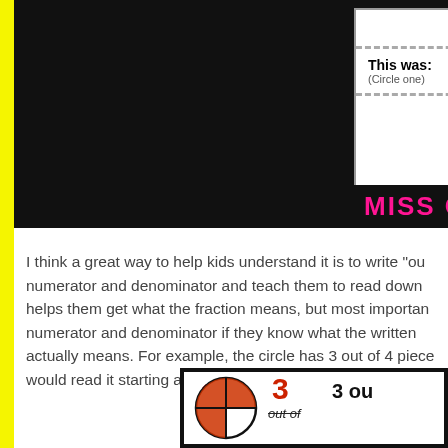[Figure (photo): Worksheet card showing red pentagon shapes, a difficulty rating section reading 'This was: (Circle one) Easy' and 'Just Right' circled in red, with a black bar at the bottom showing 'MISS GIRAFFE' in pink text.]
I think a great way to help kids understand it is to write "ou... numerator and denominator and teach them to read down... helps them get what the fraction means, but most importan... numerator and denominator if they know what the written... actually means. For example, the circle has 3 out of 4 piece... would read it starting at the 3 and going down: "3 out of 4".
[Figure (photo): Bottom portion of a worksheet showing a circle divided into 4 parts with 3 parts shaded red, next to the fraction written as '3 out of' (with out of crossed out) and '3 ou...' written in black.]